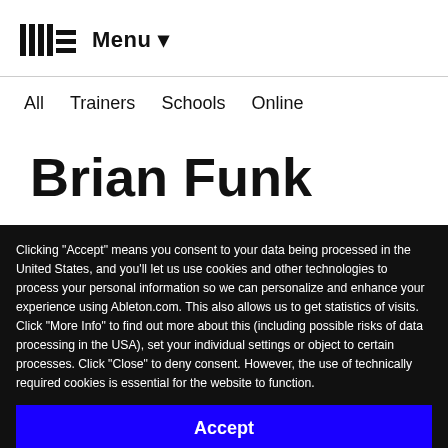Menu
All
Trainers
Schools
Online
Brian Funk
Clicking “Accept” means you consent to your data being processed in the United States, and you’ll let us use cookies and other technologies to process your personal information so we can personalize and enhance your experience using Ableton.com. This also allows us to get statistics of visits. Click “More Info” to find out more about this (including possible risks of data processing in the USA), set your individual settings or object to certain processes. Click “Close” to deny consent. However, the use of technically required cookies is essential for the website to function.
Accept
Close
More info